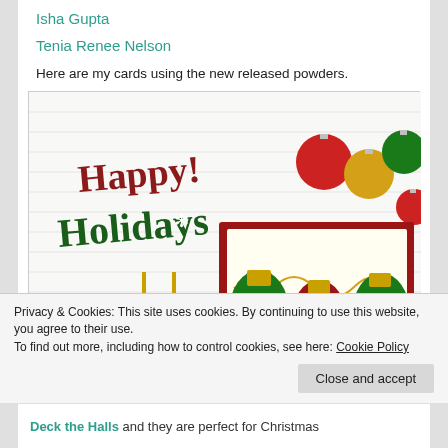Isha Gupta
Tenia Renee Nelson
Here are my cards using the new released powders.
[Figure (photo): Christmas crafting photo showing a 'Happy Holidays' glitter sign in red and green, WOW embossing powder jars, Christmas ornaments (red, gold, green), and a handmade Christmas card with glitter light bulb ornaments in green and red with 'Joy' text.]
Privacy & Cookies: This site uses cookies. By continuing to use this website, you agree to their use.
To find out more, including how to control cookies, see here: Cookie Policy
Deck the Halls and they are perfect for Christmas